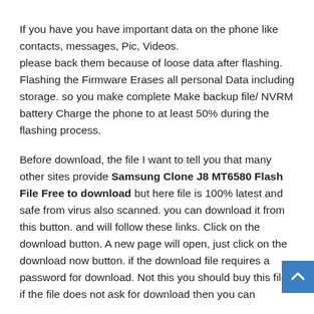If you have you have important data on the phone like contacts, messages, Pic, Videos. please back them because of loose data after flashing. Flashing the Firmware Erases all personal Data including storage. so you make complete Make backup file/ NVRM battery Charge the phone to at least 50% during the flashing process.
Before download, the file I want to tell you that many other sites provide Samsung Clone J8 MT6580 Flash File Free to download but here file is 100% latest and safe from virus also scanned. you can download it from this button. and will follow these links. Click on the download button. A new page will open, just click on the download now button. if the download file requires a password for download. Not this you should buy this file. if the file does not ask for download then you can